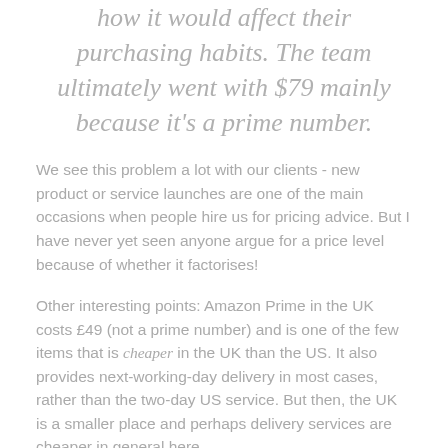how it would affect their purchasing habits. The team ultimately went with $79 mainly because it's a prime number.
We see this problem a lot with our clients - new product or service launches are one of the main occasions when people hire us for pricing advice. But I have never yet seen anyone argue for a price level because of whether it factorises!
Other interesting points: Amazon Prime in the UK costs £49 (not a prime number) and is one of the few items that is cheaper in the UK than the US. It also provides next-working-day delivery in most cases, rather than the two-day US service. But then, the UK is a smaller place and perhaps delivery services are cheaper in general here.
Finally, a funny quote from, of all people, a professor of